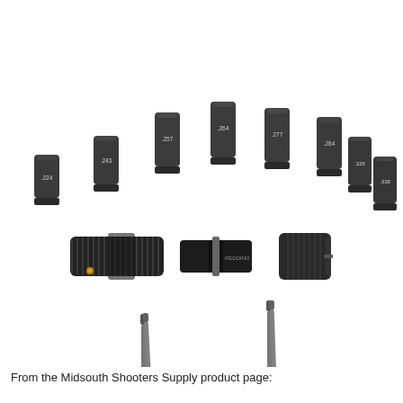[Figure (photo): Product photo of a bullet seating die kit with nine interchangeable caliber inserts (.224, .243, .257, .264, .277, .284, .325, .338 visible), a main die body with threaded housing and micrometer adjustment, and two seating stems laid out below.]
From the Midsouth Shooters Supply product page: